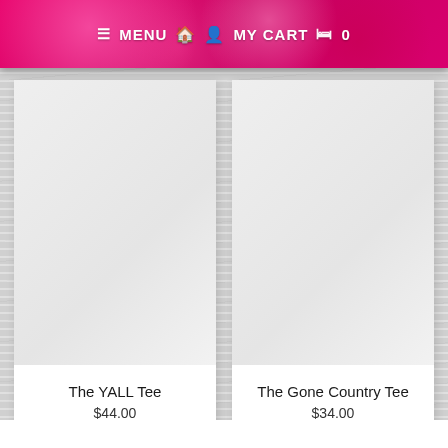≡ MENU  🏠  👤  MY CART  🛍  0
[Figure (other): Product image placeholder for The YALL Tee - blank grey rectangle]
The YALL Tee
$44.00
[Figure (other): Product image placeholder for The Gone Country Tee - blank grey rectangle]
The Gone Country Tee
$34.00